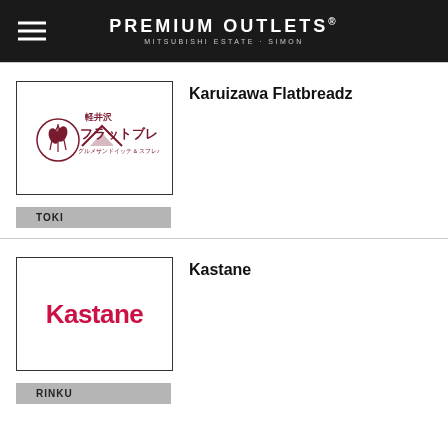PREMIUM OUTLETS · MITSUBISHI ESTATE · SIMON
[Figure (logo): Karuizawa Flatbreadz Japanese logo with wheat/mountain emblem and Japanese text フラットブレッズ]
Karuizawa Flatbreadz
TOKI
[Figure (logo): Kastane logo in red text on white background]
Kastane
RINKU